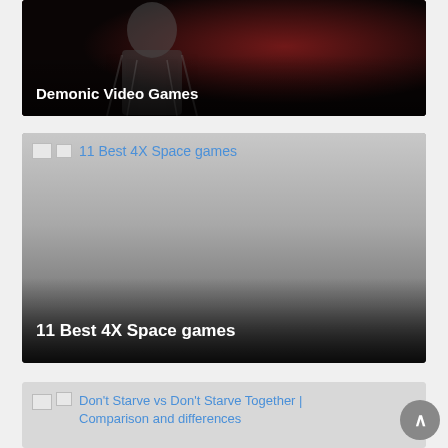[Figure (photo): Dark fantasy image with a cloaked figure against a red and dark background, card for Demonic Video Games article]
Demonic Video Games
[Figure (photo): Gray gradient placeholder image for 11 Best 4X Space games article]
11 Best 4X Space games
11 Best 4X Space games
[Figure (other): Broken image thumbnail for Don't Starve vs Don't Starve Together article]
Don't Starve vs Don't Starve Together | Comparison and differences